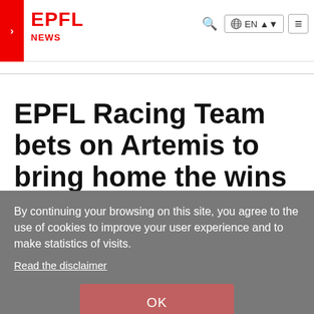EPFL NEWS
EPFL Racing Team bets on Artemis to bring home the wins
By continuing your browsing on this site, you agree to the use of cookies to improve your user experience and to make statistics of visits.
Read the disclaimer
OK